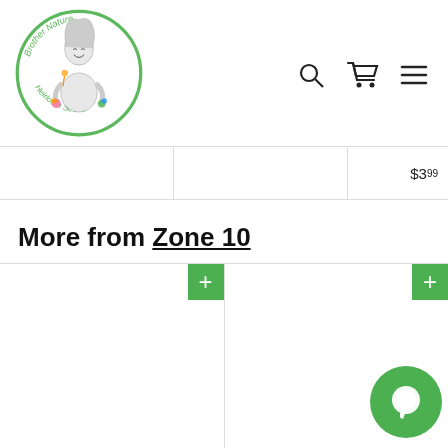[Figure (logo): Brother Nature Heirloom Seeds circular logo with illustrated figure holding flowers]
[Figure (illustration): Navigation icons: search, cart, and hamburger menu]
|  |  | $3.99 |
More from Zone 10
[Figure (other): Product grid cards with green plus buttons for adding to cart, and a green chat bubble icon in lower right]